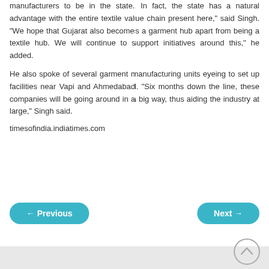manufacturers to be in the state. In fact, the state has a natural advantage with the entire textile value chain present here," said Singh. "We hope that Gujarat also becomes a garment hub apart from being a textile hub. We will continue to support initiatives around this," he added.
He also spoke of several garment manufacturing units eyeing to set up facilities near Vapi and Ahmedabad. "Six months down the line, these companies will be going around in a big way, thus aiding the industry at large," Singh said.
timesofindia.indiatimes.com